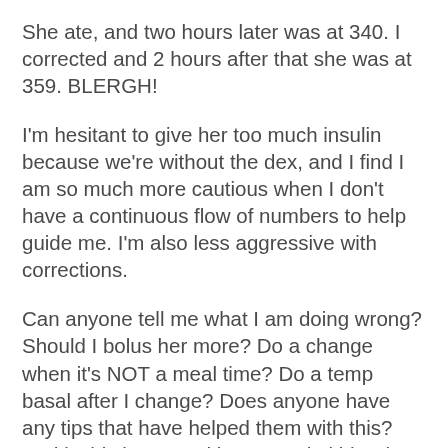She ate, and two hours later was at 340. I corrected and 2 hours after that she was at 359. BLERGH!
I'm hesitant to give her too much insulin because we're without the dex, and I find I am so much more cautious when I don't have a continuous flow of numbers to help guide me. I'm also less aggressive with corrections.
Can anyone tell me what I am doing wrong? Should I bolus her more? Do a change when it's NOT a meal time? Do a temp basal after I change? Does anyone have any tips that have helped them with this? And is this just a pod issue, or do kids who wear Animas or Medtronic also go through this with site...